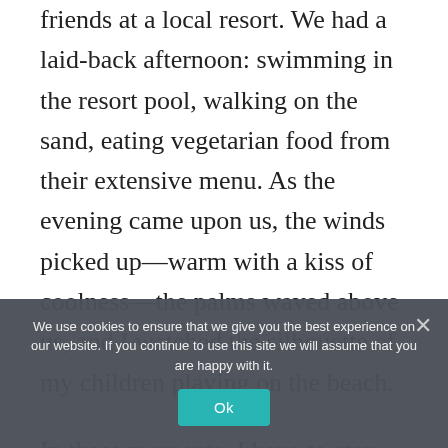friends at a local resort. We had a laid-back afternoon: swimming in the resort pool, walking on the sand, eating vegetarian food from their extensive menu. As the evening came upon us, the winds picked up—warm with a kiss of coolness—the palms waved above us, and I watched the silhouette of my children playing on the beach.
In these moments, I have to stop and
a fully location independent life.
Location independence means we can be
We use cookies to ensure that we give you the best experience on our website. If you continue to use this site we will assume that you are happy with it.